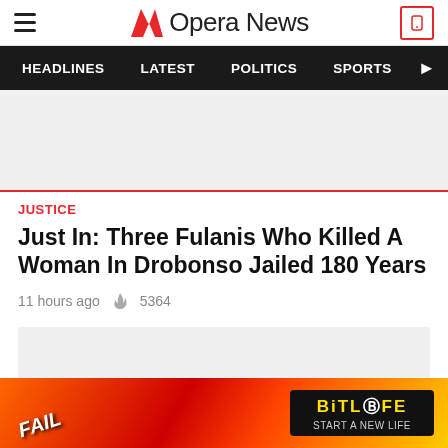Opera News
HEADLINES  LATEST  POLITICS  SPORTS
[Figure (photo): Article header image placeholder (light gray)]
JUSTICE
Just In: Three Fulanis Who Killed A Woman In Drobonso Jailed 180 Years
11 hours ago  5364
[Figure (photo): Article body image placeholder (light gray)]
[Figure (photo): BitLife advertisement banner]